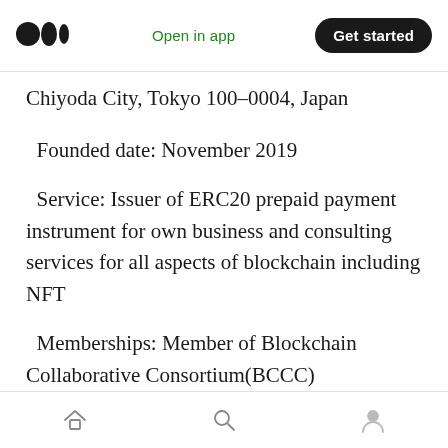Open in app | Get started
Chiyoda City, Tokyo 100–0004, Japan
Founded date: November 2019
Service: Issuer of ERC20 prepaid payment instrument for own business and consulting services for all aspects of blockchain including NFT
Memberships: Member of Blockchain Collaborative Consortium(BCCC)
Type one Member of Japan Payment Service